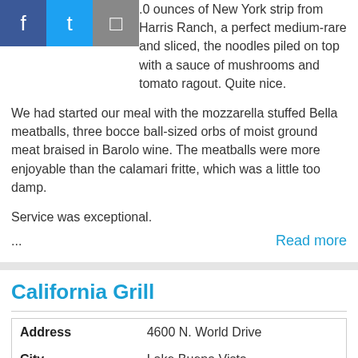.0 ounces of New York strip from Harris Ranch, a perfect medium-rare and sliced, the noodles piled on top with a sauce of mushrooms and tomato ragout. Quite nice.
We had started our meal with the mozzarella stuffed Bella meatballs, three bocce ball-sized orbs of moist ground meat braised in Barolo wine. The meatballs were more enjoyable than the calamari fritte, which was a little too damp.
Service was exceptional.
... Read more
California Grill
| Field | Value |
| --- | --- |
| Address | 4600 N. World Drive |
| City | Lake Buena Vista |
| Phone | 407-939-3463 |
| Price | $$$$ |
| Scott's Review |  |
After more than a dozen years at the top, literally and figuratively, California Grill is still one the Central Florida's best